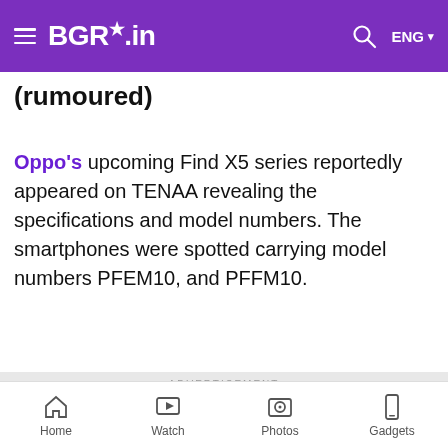BGR.in — ENG
(rumoured)
Oppo's upcoming Find X5 series reportedly appeared on TENAA revealing the specifications and model numbers. The smartphones were spotted carrying model numbers PFEM10, and PFFM10.
ADVERTISEMENT
Home | Watch | Photos | Gadgets